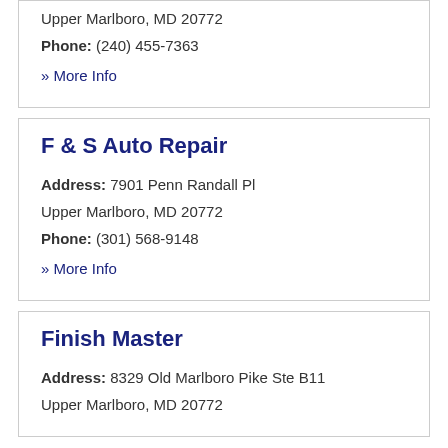Address: 7901 Penn Randall Pl
Upper Marlboro, MD 20772
Phone: (240) 455-7363
» More Info
F & S Auto Repair
Address: 7901 Penn Randall Pl
Upper Marlboro, MD 20772
Phone: (301) 568-9148
» More Info
Finish Master
Address: 8329 Old Marlboro Pike Ste B11
Upper Marlboro, MD 20772